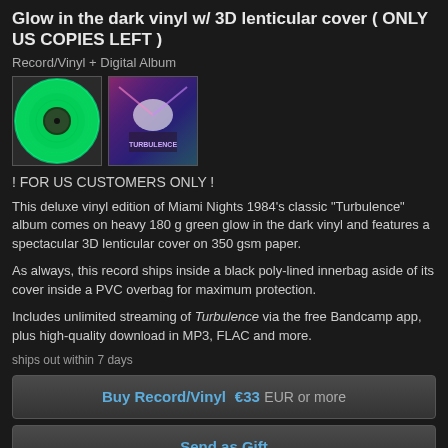Glow in the dark vinyl w/ 3D lenticular cover ( ONLY US COPIES LEFT )
Record/Vinyl + Digital Album
[Figure (photo): Two product photos: a glowing green vinyl record on the left, and a 3D lenticular cover with pink/purple holographic effect on the right]
! FOR US CUSTOMERS ONLY !
This deluxe vinyl edition of Miami Nights 1984's classic "Turbulence" album comes on heavy 180 g green glow in the dark vinyl and features a spectacular 3D lenticular cover on 350 gsm paper.
As always, this record ships inside a black poly-lined innerbag aside of its cover inside a PVC overbag for maximum protection.
Includes unlimited streaming of Turbulence via the free Bandcamp app, plus high-quality download in MP3, FLAC and more.
ships out within 7 days
Buy Record/Vinyl  €33 EUR or more
Send as Gift